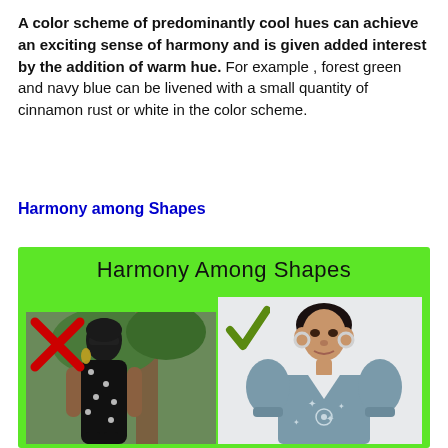A color scheme of predominantly cool hues can achieve an exciting sense of harmony and is given added interest by the addition of warm hue. For example , forest green and navy blue can be livened with a small quantity of cinnamon rust or white in the color scheme.
Harmony among Shapes
[Figure (illustration): Green-background infographic titled 'Harmony Among Shapes' showing two fashion photos side by side. The left photo shows a woman in black polka dot dress with a red X mark overlay (incorrect example). The right photo shows a woman in a grey puff-sleeve top with a green checkmark overlay (correct example).]